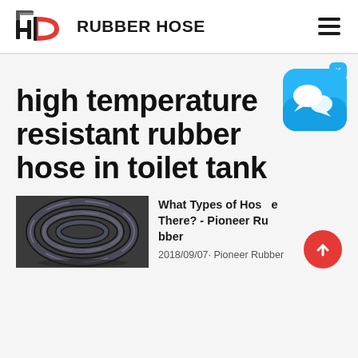HD RUBBER HOSE
[Figure (logo): HD Rubber Hose logo with red D shape and hose graphic]
high temperature resistant rubber hose in toilet tank
[Figure (photo): Coiled dark rubber hydraulic hose]
What Types of Hose Are There? - Pioneer Rubber
2018/09/07· Pioneer Rubber